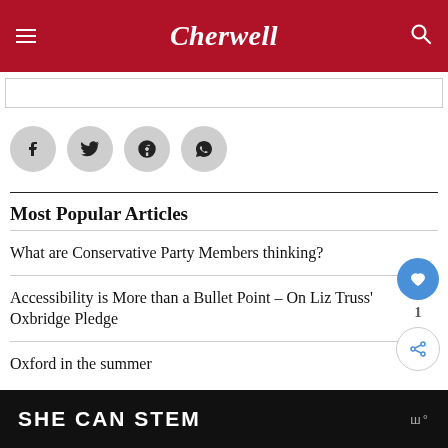Cherwell
[Figure (other): Social share icons: Facebook, Twitter, Pinterest, WhatsApp]
Most Popular Articles
What are Conservative Party Members thinking?
Accessibility is More than a Bullet Point – On Liz Truss' Oxbridge Pledge
Oxford in the summer
SHE CAN STEM